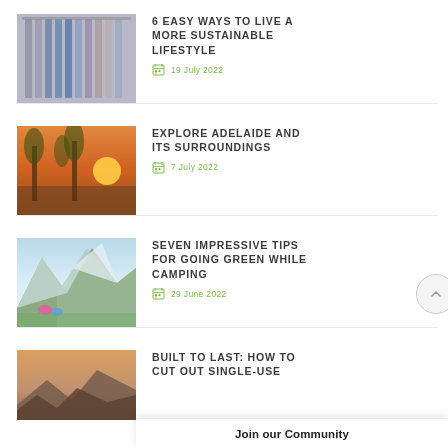[Figure (photo): Clothes hanging on a rack, various colors]
6 EASY WAYS TO LIVE A MORE SUSTAINABLE LIFESTYLE
19 July 2022
[Figure (photo): Ferris wheel at sunset near water with palm trees]
EXPLORE ADELAIDE AND ITS SURROUNDINGS
7 July 2022
[Figure (photo): Mountain landscape with tents and snow]
SEVEN IMPRESSIVE TIPS FOR GOING GREEN WHILE CAMPING
29 June 2022
[Figure (photo): Rocky terrain landscape at dusk]
BUILT TO LAST: HOW TO CUT OUT SINGLE-USE
Join our Community